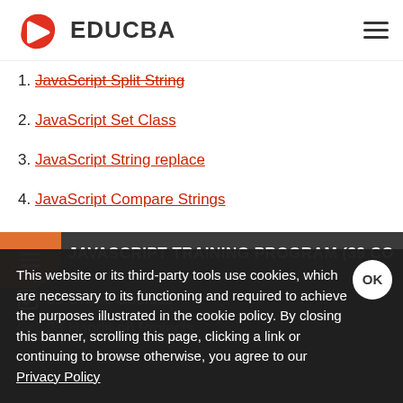EDUCBA
1. JavaScript Split String
2. JavaScript Set Class
3. JavaScript String replace
4. JavaScript Compare Strings
JAVASCRIPT TRAINING PROGRAM (39 CO...
39 Online Courses
23 Hands-on Projects
This website or its third-party tools use cookies, which are necessary to its functioning and required to achieve the purposes illustrated in the cookie policy. By closing this banner, scrolling this page, clicking a link or continuing to browse otherwise, you agree to our Privacy Policy